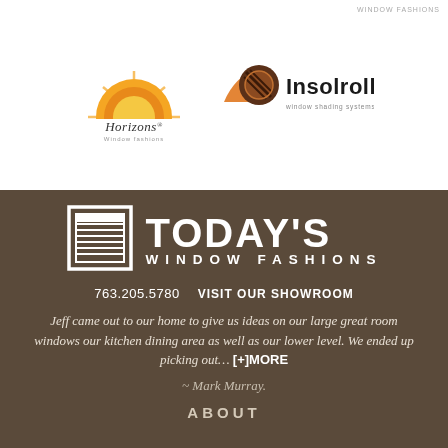WINDOW FASHIONS
[Figure (logo): Horizons Window Fashions logo with orange/yellow sun graphic and text 'Horizons® Window fashions']
[Figure (logo): Insolroll window shading systems logo with black and orange diamond/roll graphic and yellow 'Insolroll' text with 'window shading systems' subtitle]
[Figure (logo): Today's Window Fashions logo: white square icon depicting window blinds on left, large white bold text 'TODAY'S' above 'WINDOW FASHIONS' on dark brown background]
763.205.5780   VISIT OUR SHOWROOM
Jeff came out to our home to give us ideas on our large great room windows our kitchen dining area as well as our lower level. We ended up picking out… [+]MORE
~ Mark Murray.
ABOUT